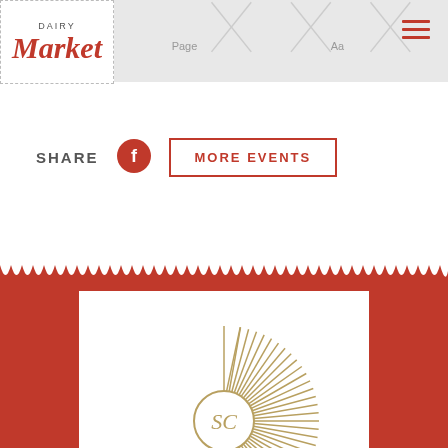[Figure (logo): Dairy Market logo with cursive 'Market' text in red and 'DAIRY' label above]
[Figure (screenshot): Partial screenshot of website navigation bar with 'Page' and 'Aa' labels visible on grey background]
[Figure (other): Hamburger menu icon (three horizontal red lines)]
SHARE
[Figure (other): Facebook share icon circle in red with white F]
MORE EVENTS
[Figure (other): Scallop wave border decoration in red, followed by red footer background with white emblem card containing a sunburst monogram logo]